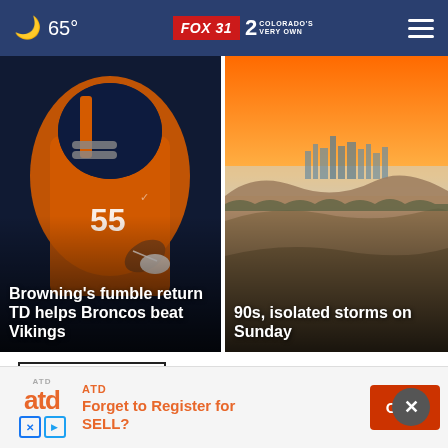65° FOX 31 2 COLORADO'S VERY OWN
[Figure (photo): Denver Broncos player in orange uniform carrying football, close-up action shot]
Browning's fumble return TD helps Broncos beat Vikings
[Figure (photo): Denver city skyline at sunset with golden sky and rolling hills in foreground]
90s, isolated storms on Sunday
Top Stories ▶
ATD Forget to Register for SELL? Open